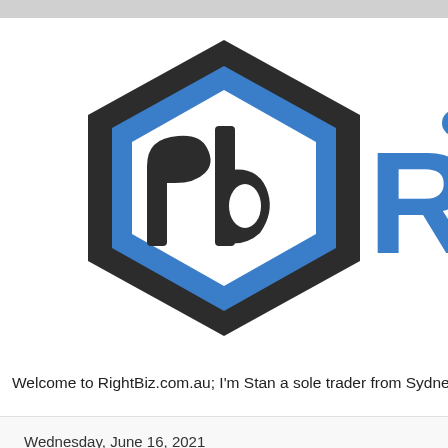[Figure (logo): RightBiz logo: a dark hexagon shape with blue 'rb' letters inside, next to blue text 'Ri' (partially visible) to the right]
Welcome to RightBiz.com.au; I'm Stan a sole trader from Sydney Aus
Wednesday, June 16, 2021